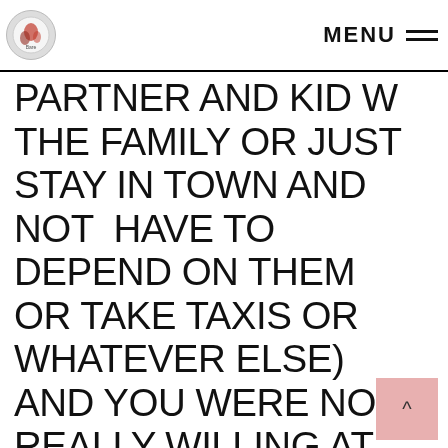MENU
PARTNER AND KID W THE FAMILY OR JUST STAY IN TOWN AND NOT HAVE TO DEPEND ON THEM OR TAKE TAXIS OR WHATEVER ELSE) AND YOU WERE NOT REALLY WILLING AT THAT TIME TO DO THAT (I THINK MONEY PLUS FAMILY